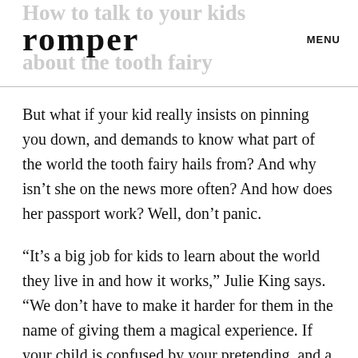How to talk to your kids romper about the tooth fairy MENU
But what if your kid really insists on pinning you down, and demands to know what part of the world the tooth fairy hails from? And why isn't she on the news more often? And how does her passport work? Well, don't panic.
“It’s a big job for kids to learn about the world they live in and how it works,” Julie King says. “We don’t have to make it harder for them in the name of giving them a magical experience. If your child is confused by your pretending, and a playful approach is not working, feel free to explain what is going on in more direct